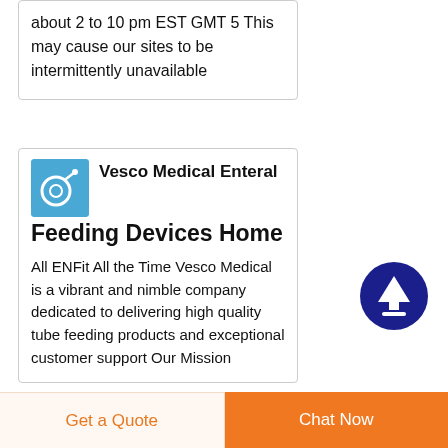about 2 to 10 pm EST GMT 5 This may cause our sites to be intermittently unavailable
[Figure (photo): Blue square thumbnail image of enteral feeding tube/device on light blue background]
Vesco Medical Enteral Feeding Devices Home
All ENFit All the Time Vesco Medical is a vibrant and nimble company dedicated to delivering high quality tube feeding products and exceptional customer support Our Mission
[Figure (other): Dark blue circle with white upward arrow icon, scroll-to-top button]
Get a Quote
Chat Now